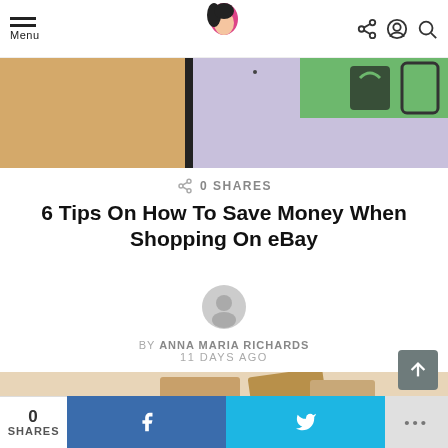Menu [logo] [share icon] [user icon] [search icon]
[Figure (photo): Partial view of a shopping/e-commerce themed image with lavender background, wood surface, green element and shopping icons on the right]
0 SHARES
6 Tips On How To Save Money When Shopping On eBay
[Figure (illustration): Gray circular author avatar placeholder icon]
BY ANNA MARIA RICHARDS
11 DAYS AGO
[Figure (photo): Cardboard shipping boxes on a beige/cream background]
0 SHARES  f  [Twitter bird]  ...